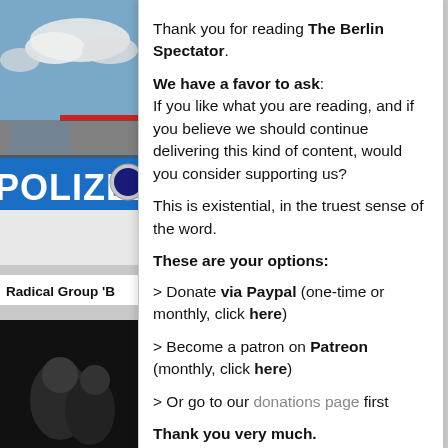[Figure (photo): Photo of a Polizei (German police) vehicle with blue and white markings and clouds in background]
Radical Group 'B
[Figure (photo): Dark photo of people]
Thank you for reading The Berlin Spectator.
We have a favor to ask: If you like what you are reading, and if you believe we should continue delivering this kind of content, would you consider supporting us?
This is existential, in the truest sense of the word.
These are your options:
> Donate via Paypal (one-time or monthly, click here)
> Become a patron on Patreon (monthly, click here)
> Or go to our donations page first
Thank you very much.